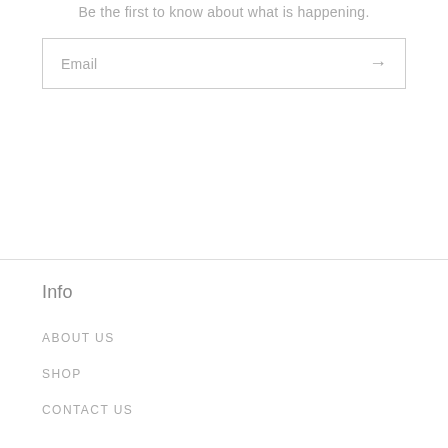Be the first to know about what is happening.
Email →
Info
ABOUT US
SHOP
CONTACT US